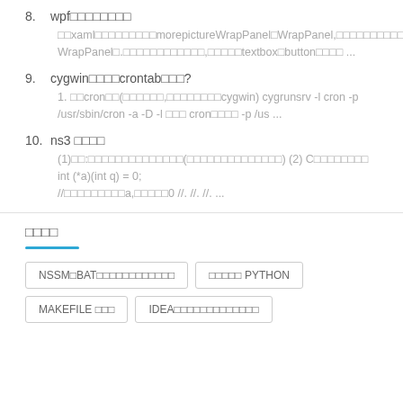8. wpf□□□□□□□□
□□xaml□□□□□□□□□morepictureWrapPanel□WrapPanel,□□□□□□□□□□ WrapPanel□.□□□□□□□□□□□□,□□□□□textbox□button□□□□ ...
9. cygwin□□□□crontab□□□?
1. □□cron□□(□□□□□□,□□□□□□□□cygwin) cygrunsrv -l cron -p /usr/sbin/cron -a -D -l □□□ cron□□□□ -p /us ...
10. ns3 □□□□
(1)□□:□□□□□□□□□□□□□□(□□□□□□□□□□□□□□) (2) C□□□□□□□□ int (*a)(int q) = 0; //□□□□□□□□□a,□□□□□0 //. //. //. ...
□□□□
NSSM□BAT□□□□□□□□□□□□
□□□□□ PYTHON
MAKEFILE □□□
IDEA□□□□□□□□□□□□□